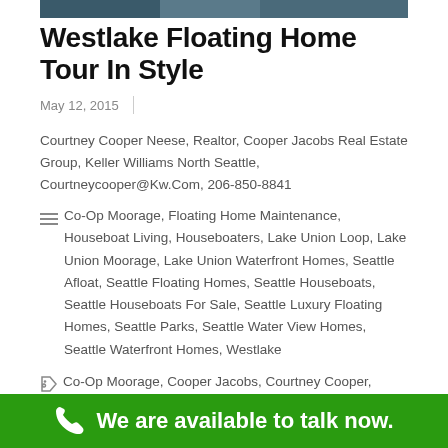[Figure (photo): Partial top of a floating home photo, cropped at top of page]
Westlake Floating Home Tour In Style
May 12, 2015
Courtney Cooper Neese, Realtor, Cooper Jacobs Real Estate Group, Keller Williams North Seattle, Courtneycooper@Kw.Com, 206-850-8841
Co-Op Moorage, Floating Home Maintenance, Houseboat Living, Houseboaters, Lake Union Loop, Lake Union Moorage, Lake Union Waterfront Homes, Seattle Afloat, Seattle Floating Homes, Seattle Houseboats, Seattle Houseboats For Sale, Seattle Luxury Floating Homes, Seattle Parks, Seattle Water View Homes, Seattle Waterfront Homes, Westlake
Co-Op Moorage, Cooper Jacobs, Courtney Cooper, Floating Homes Sales Data, Lake Union, Lake Union Floating Homes, Lake Union Houseboats, Lake Union Loop, Lake Union
We are available to talk now.